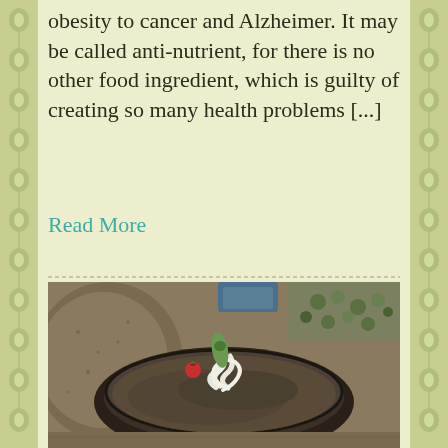obesity to cancer and Alzheimer. It may be called anti-nutrient, for there is no other food ingredient, which is guilty of creating so many health problems [...]
Read More
[Figure (photo): A bowl of dark brown dip or spread (possibly olive tapenade or mushroom pate) garnished with curled white vegetable ribbons, a small cucumber, and red cherry tomatoes. Blurred background shows green vegetables and bread.]